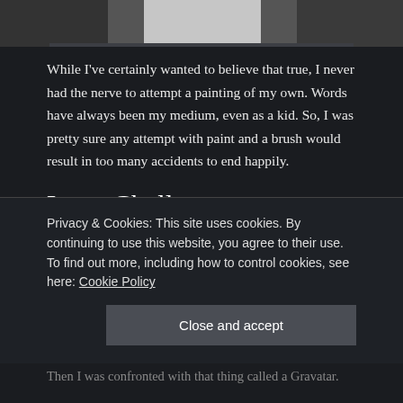[Figure (photo): Partial photo of a person wearing white, cropped at top of page]
While I've certainly wanted to believe that true, I never had the nerve to attempt a painting of my own. Words have always been my medium, even as a kid. So, I was pretty sure any attempt with paint and a brush would result in too many accidents to end happily.
Logo Challenge
Thus, as I started this blog, I felt challenged when the customization menu encouraged me to upload a logo. A
Privacy & Cookies: This site uses cookies. By continuing to use this website, you agree to their use.
To find out more, including how to control cookies, see here: Cookie Policy
Close and accept
Then I was confronted with that thing called a Gravatar.